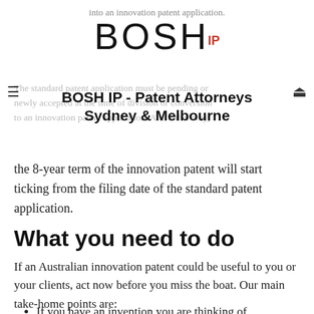into an innovation patent application.
[Figure (logo): BOSH IP logo with BOSH in large thin letters and IP superscript in red]
BOSH IP - Patent Attorneys Sydney & Melbourne
The standard patent application must be pending or newly accepted at the time of division or conversion to an innovation patent application. And either way, the 8-year term of the innovation patent will start ticking from the filing date of the standard patent application.
What you need to do
If an Australian innovation patent could be useful to you or your clients, act now before you miss the boat. Our main take-home points are:
If you have an invention you are thinking of